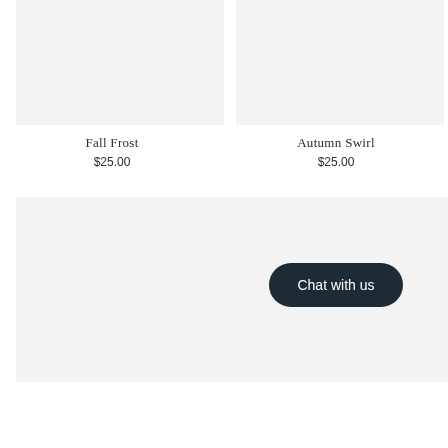[Figure (photo): Product image placeholder for Fall Frost, light gray background]
Fall Frost
$25.00
[Figure (photo): Product image placeholder for Autumn Swirl, light gray background]
Autumn Swirl
$25.00
[Figure (photo): Product image placeholder, bottom left, light gray background]
[Figure (screenshot): Chat with us button panel, dark navy rounded button on gray background]
Chat with us